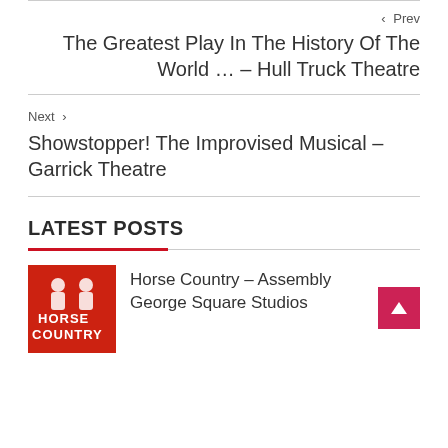< Prev
The Greatest Play In The History Of The World … – Hull Truck Theatre
Next >
Showstopper! The Improvised Musical – Garrick Theatre
LATEST POSTS
Horse Country – Assembly George Square Studios